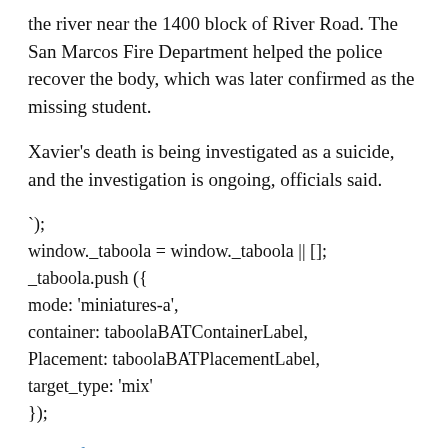the river near the 1400 block of River Road. The San Marcos Fire Department helped the police recover the body, which was later confirmed as the missing student.
Xavier's death is being investigated as a suicide, and the investigation is ongoing, officials said.
`);
window._taboola = window._taboola || [];
_taboola.push ({
mode: 'miniatures-a',
container: taboolaBATContainerLabel,
Placement: taboolaBATPlacementLabel,
target_type: 'mix'
});
Link of origin
[Figure (other): Row of social media sharing icons: Twitter (blue bird), Facebook (blue f), VK (blue VK), Pinterest (red P), Share (grey plus)]